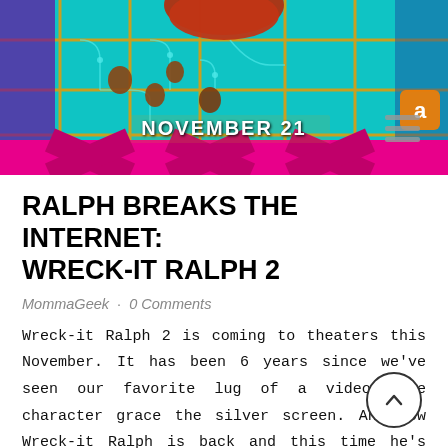[Figure (photo): Movie poster/banner for Ralph Breaks the Internet: Wreck-It Ralph 2. Shows a colorful animated scene with a circuit-board-like floor with gold lines on teal/cyan background, with animated characters on it, and a large pink/magenta 'X' shape across the bottom. Text 'NOVEMBER 21' appears in bold white letters in the center of the image.]
RALPH BREAKS THE INTERNET: WRECK-IT RALPH 2
MommaGeek · 0 Comments
Wreck-it Ralph 2 is coming to theaters this November. It has been 6 years since we've seen our favorite lug of a video game character grace the silver screen. And now Wreck-it Ralph is back and this time he's had...